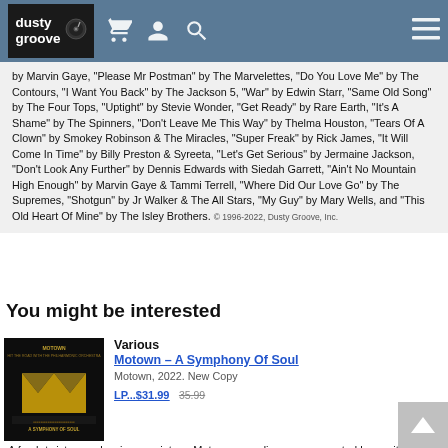dusty groove [logo with vinyl icon, cart, user, search, menu icons]
by Marvin Gaye, "Please Mr Postman" by The Marvelettes, "Do You Love Me" by The Contours, "I Want You Back" by The Jackson 5, "War" by Edwin Starr, "Same Old Song" by The Four Tops, "Uptight" by Stevie Wonder, "Get Ready" by Rare Earth, "It's A Shame" by The Spinners, "Don't Leave Me This Way" by Thelma Houston, "Tears Of A Clown" by Smokey Robinson & The Miracles, "Super Freak" by Rick James, "It Will Come In Time" by Billy Preston & Syreeta, "Let's Get Serious" by Jermaine Jackson, "Don't Look Any Further" by Dennis Edwards with Siedah Garrett, "Ain't No Mountain High Enough" by Marvin Gaye & Tammi Terrell, "Where Did Our Love Go" by The Supremes, "Shotgun" by Jr Walker & The All Stars, "My Guy" by Mary Wells, and "This Old Heart Of Mine" by The Isley Brothers. © 1996-2022, Dusty Groove, Inc.
You might be interested
[Figure (photo): Album cover for Motown – A Symphony Of Soul showing gold Motown M logo on dark background]
Various
Motown – A Symphony Of Soul
Motown, 2022. New Copy
LP...$31.99  35.99
A fresh twist on a classic – as vintage Motown recordings are presented here with added orchestrations – all done at a level that lifts the soul singles up with even more majesty than before! A few of these cuts also feature added new vocals from British soul singers, but overall the ...